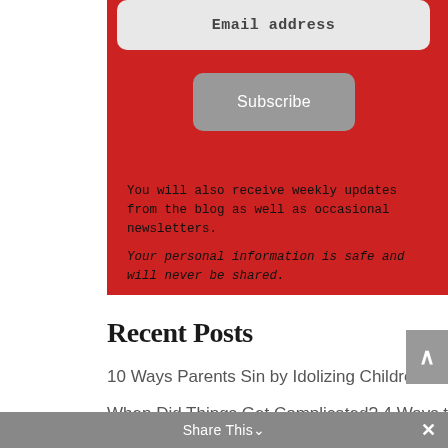[Figure (screenshot): Email address input field with light gray rounded rectangle background on red background]
[Figure (screenshot): Subscribe button with gray rounded rectangle on red background]
You will also receive weekly updates from the blog as well as occasional newsletters.
Your personal information is safe and will never be shared.
Recent Posts
10 Ways Parents Sin by Idolizing Children
When Did Things Get Complicated? 4 Ways to Simply Your Life
5 Tips for Busy Moms in the Fledging Years
Share This